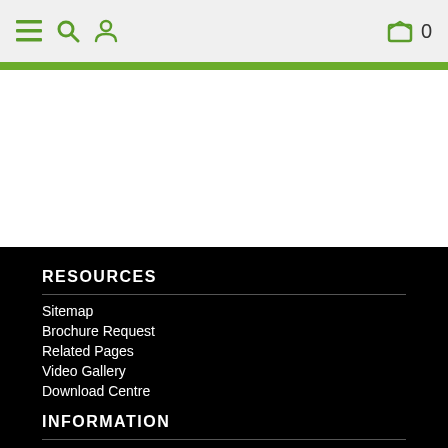Navigation header with hamburger menu, search, user, and cart icons
RESOURCES
Sitemap
Brochure Request
Related Pages
Video Gallery
Download Centre
INFORMATION
Contact & Hours